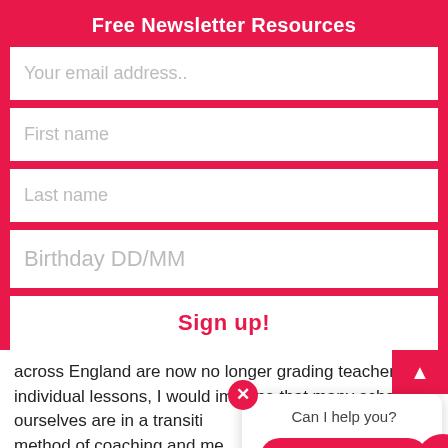Free Newsletter Resources
Your email address..
First name
Last name
Birthday DD/MM
Sign up!
across England are now no longer grading teachers a individual lessons, I would imagine that many schoo ourselves are in a transitio method of coaching and me in teams, professional deve and supported in small groups and/or in triads to help pinpoint teaching r
Can I help you?
Ask question
@Teacher Toolkit
Our Privacy and Cookies Policy